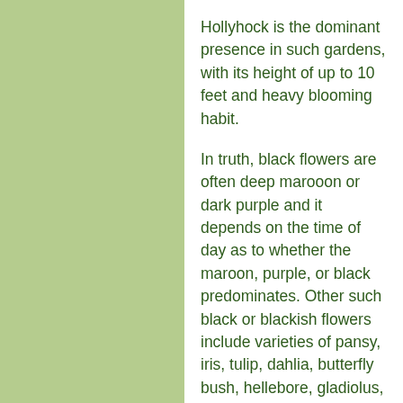Hollyhock is the dominant presence in such gardens, with its height of up to 10 feet and heavy blooming habit.
In truth, black flowers are often deep marooon or dark purple and it depends on the time of day as to whether the maroon, purple, or black predominates. Other such black or blackish flowers include varieties of pansy, iris, tulip, dahlia, butterfly bush, hellebore, gladiolus, calla lily, dianthus and columbine.
As for vegetables, you can find nearly black varieties of tomato, bell pepper and corn. And then, of course, there’s always eggplant.